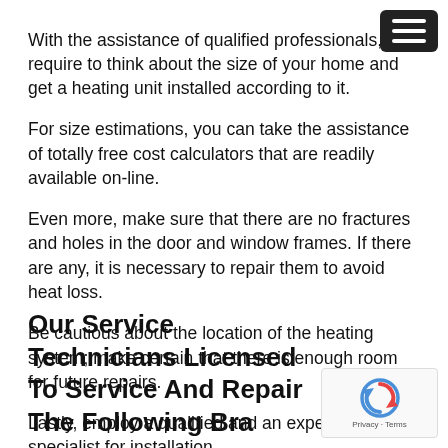With the assistance of qualified professionals, you require to think about the size of your home and get a heating unit installed according to it. For size estimations, you can take the assistance of totally free cost calculators that are readily available on-line. Even more, make sure that there are no fractures and holes in the door and window frames. If there are any, it is necessary to repair them to avoid heat loss. Be cautious about the location of the heating system; make certain that there is enough room for future repairs. Lastly, employ a qualified and an experienced specialist for installation.
Our Service Technicians Licensed To Service And Repair The Following Bra